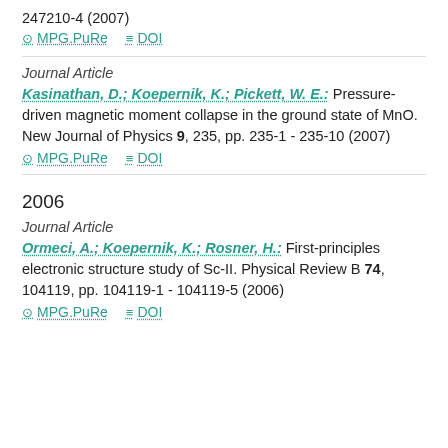247210-4 (2007)
MPG.PuRe   DOI
Journal Article
Kasinathan, D.; Koepernik, K.; Pickett, W. E.: Pressure-driven magnetic moment collapse in the ground state of MnO. New Journal of Physics 9, 235, pp. 235-1 - 235-10 (2007)
MPG.PuRe   DOI
2006
Journal Article
Ormeci, A.; Koepernik, K.; Rosner, H.: First-principles electronic structure study of Sc-II. Physical Review B 74, 104119, pp. 104119-1 - 104119-5 (2006)
MPG.PuRe   DOI